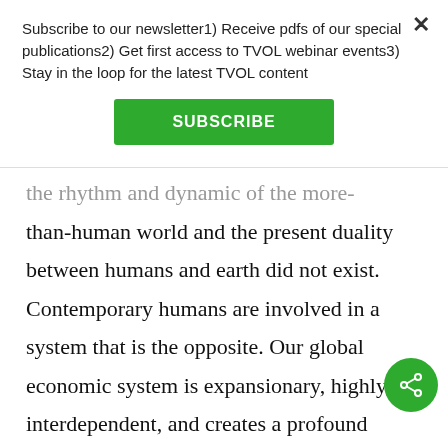Subscribe to our newsletter1) Receive pdfs of our special publications2) Get first access to TVOL webinar events3) Stay in the loop for the latest TVOL content
SUBSCRIBE
the rhythm and dynamic of the more-than-human world and the present duality between humans and earth did not exist. Contemporary humans are involved in a system that is the opposite. Our global economic system is expansionary, highly interdependent, and creates a profound duality between humans and earth. It is